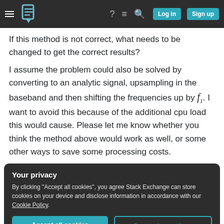Stack Exchange navigation bar with hamburger menu, logo, help, chat, search, Log in, Sign up buttons
If this method is not correct, what needs to be changed to get the correct results?
I assume the problem could also be solved by converting to an analytic signal, upsampling in the baseband and then shifting the frequencies up by f_1. I want to avoid this because of the additional cpu load this would cause. Please let me know whether you think the method above would work as well, or some other ways to save some processing costs.
Your privacy
By clicking "Accept all cookies", you agree Stack Exchange can store cookies on your device and disclose information in accordance with our Cookie Policy.
Accept all cookies  Customize settings
Share